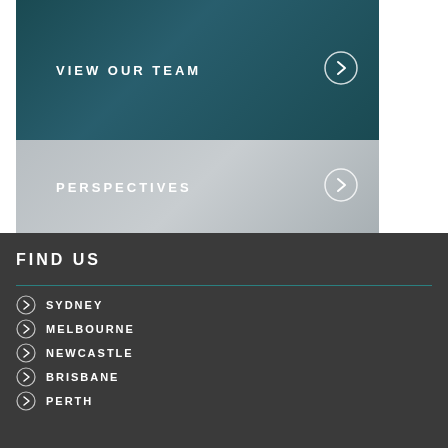[Figure (screenshot): Dark teal banner with text VIEW OUR TEAM and a circular arrow button on the right]
[Figure (screenshot): Gray banner with text PERSPECTIVES and a circular arrow button on the right]
FIND US
SYDNEY
MELBOURNE
NEWCASTLE
BRISBANE
PERTH